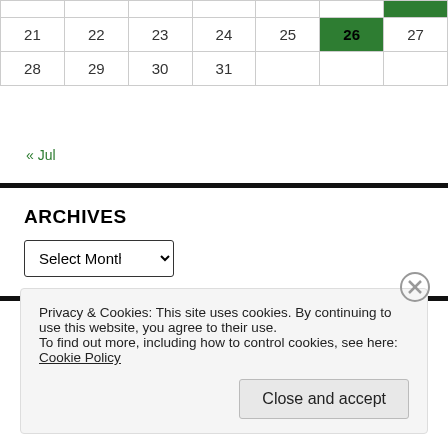| 21 | 22 | 23 | 24 | 25 | 26 | 27 |
| 28 | 29 | 30 | 31 |  |  |  |
« Jul
ARCHIVES
Select Month (dropdown)
INSTAGRAM
Privacy & Cookies: This site uses cookies. By continuing to use this website, you agree to their use.
To find out more, including how to control cookies, see here: Cookie Policy
Close and accept